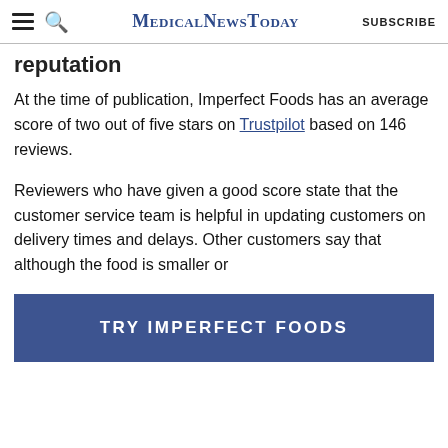MedicalNewsToday | SUBSCRIBE
reputation
At the time of publication, Imperfect Foods has an average score of two out of five stars on Trustpilot based on 146 reviews.
Reviewers who have given a good score state that the customer service team is helpful in updating customers on delivery times and delays. Other customers say that although the food is smaller or
TRY IMPERFECT FOODS